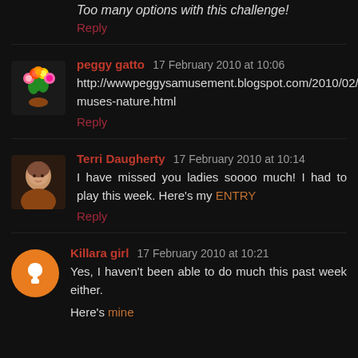Too many options with this challenge!
Reply
peggy gatto  17 February 2010 at 10:06
http://wwwpeggysamusement.blogspot.com/2010/02/three-muses-nature.html
Reply
Terri Daugherty  17 February 2010 at 10:14
I have missed you ladies soooo much! I had to play this week. Here's my ENTRY
Reply
Killara girl  17 February 2010 at 10:21
Yes, I haven't been able to do much this past week either.
Here's mine